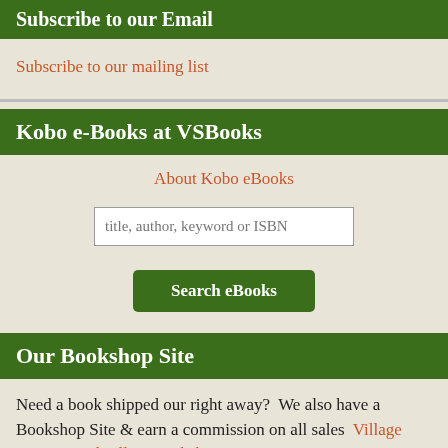Subscribe to our Email
Subscribe to our mailing list
Kobo e-Books at VSBooks
About Kobo eBooks
title, author, keyword or ISBN
Search eBooks
Our Bookshop Site
Need a book shipped our right away?  We also have a Bookshop Site & earn a commission on all sales  Village Square Booksellers Bookshop
Honor in Dollars: Following